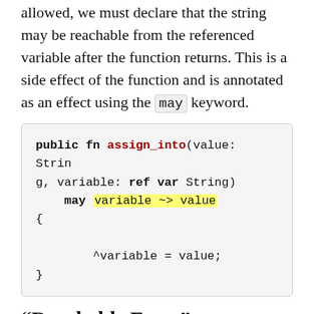allowed, we must declare that the string may be reachable from the referenced variable after the function returns. This is a side effect of the function and is annotated as an effect using the may keyword.
public fn assign_into(value: String, variable: ref var String)
    may variable ~> value
{
    ^variable = value;
}
“Reachable From” Annotations
Up to this point, we’ve looked at annotations